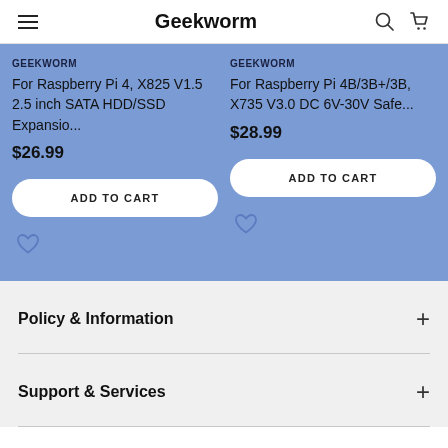Geekworm
GEEKWORM
For Raspberry Pi 4, X825 V1.5 2.5 inch SATA HDD/SSD Expansio...
$26.99
GEEKWORM
For Raspberry Pi 4B/3B+/3B, X735 V3.0 DC 6V-30V Safe...
$28.99
Policy & Information
Support & Services